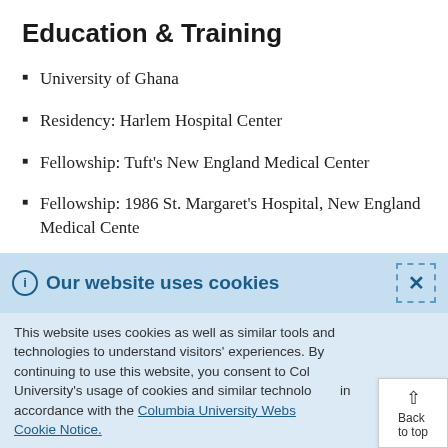Education & Training
University of Ghana
Residency: Harlem Hospital Center
Fellowship: Tuft's New England Medical Center
Fellowship: 1986 St. Margaret's Hospital, New England Medical Cente
Our website uses cookies
This website uses cookies as well as similar tools and technologies to understand visitors' experiences. By continuing to use this website, you consent to Columbia University's usage of cookies and similar technologies in accordance with the Columbia University Website Cookie Notice.